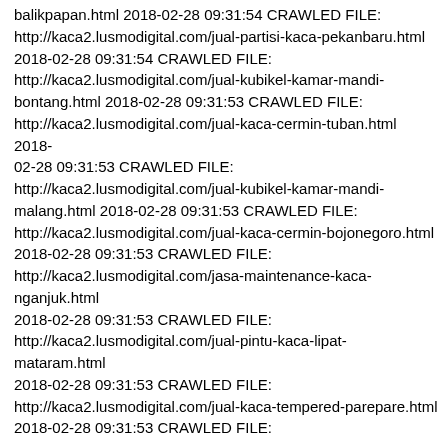balikpapan.html 2018-02-28 09:31:54 CRAWLED FILE: http://kaca2.lusmodigital.com/jual-partisi-kaca-pekanbaru.html 2018-02-28 09:31:54 CRAWLED FILE: http://kaca2.lusmodigital.com/jual-kubikel-kamar-mandi-bontang.html 2018-02-28 09:31:53 CRAWLED FILE: http://kaca2.lusmodigital.com/jual-kaca-cermin-tuban.html 2018-02-28 09:31:53 CRAWLED FILE: http://kaca2.lusmodigital.com/jual-kubikel-kamar-mandi-malang.html 2018-02-28 09:31:53 CRAWLED FILE: http://kaca2.lusmodigital.com/jual-kaca-cermin-bojonegoro.html 2018-02-28 09:31:53 CRAWLED FILE: http://kaca2.lusmodigital.com/jasa-maintenance-kaca-nganjuk.html 2018-02-28 09:31:53 CRAWLED FILE: http://kaca2.lusmodigital.com/jual-pintu-kaca-lipat-mataram.html 2018-02-28 09:31:53 CRAWLED FILE: http://kaca2.lusmodigital.com/jual-kaca-tempered-parepare.html 2018-02-28 09:31:53 CRAWLED FILE: http://kaca2.lusmodigital.com/jasa-maintenance-kaca-bitung.html 2018-02-28 09:31:53 CRAWLED FILE: http://kaca2.lusmodigital.com/jasa-maintenance-kaca-mojokerto.html 2018-02-28 09:31:52 CRAWLED FILE: http://kaca2.lusmodigital.com/jual-kubikel-kamar-mandi-palu.html 2018-02-28 09:31:52 CRAWLED FILE: http://kaca2.lusmodigital.com/jual-kaca-tempered-banjarmasin.html 2018-02-28 09:31:51 CRAWLED FILE: